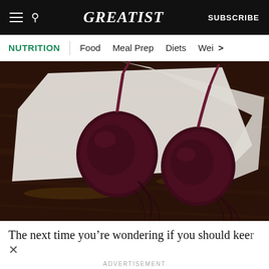GREATIST | SUBSCRIBE
NUTRITION | Food | Meal Prep | Diets | Wei >
[Figure (photo): Two whole beets with stems on a white cloth on a dark wooden surface, photographed from above]
The next time you're wondering if you should keep ×
ADVERTISEMENT
Let's be friends with (health) benefits. FOLLOW US Follow GREATIST on Instagram